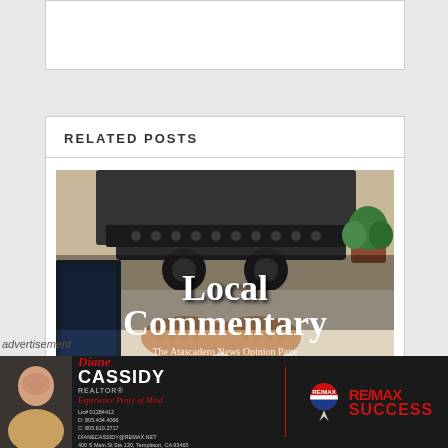RELATED POSTS
[Figure (illustration): Overhead view of hands typing on a vintage typewriter with text overlay reading 'Local Commentary – The Atascadero News Opinion Page']
advertisement
[Figure (other): RE/MAX Success advertisement featuring Diane Cassidy, Realtor – Experience Peace of Mind. License 01284412. RE/MAX logo with red, white and blue balloon.]